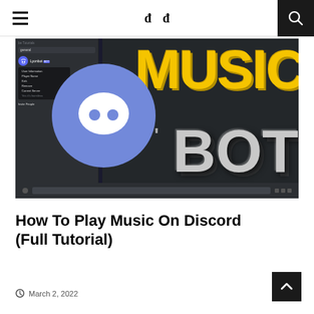≡  ꟾ ꟾ  🔍
[Figure (screenshot): YouTube thumbnail for a Discord Music Bot tutorial. Shows Discord interface on the left with a user menu open, a large Discord logo circle in purple/blue, and bold text reading 'MUSIC BOT' on dark background — 'MUSIC' in yellow, 'BOT' in silver/white.]
How To Play Music On Discord (Full Tutorial)
March 2, 2022